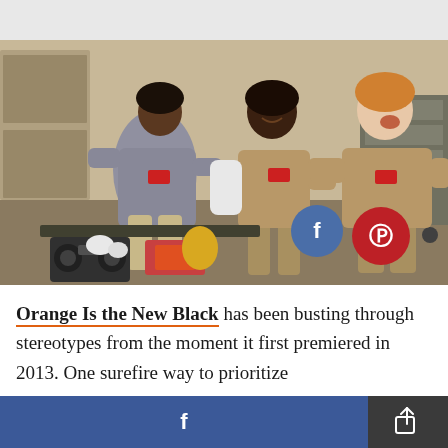[Figure (photo): Scene from Orange Is the New Black TV show: three women in prison uniforms dancing joyfully in a prison common room. One wears a gray sweatshirt, two wear tan/khaki uniforms. A boombox and craft supplies are visible on a table in the foreground. Facebook and Pinterest share buttons are overlaid in the bottom-right corner of the image.]
Orange Is the New Black has been busting through stereotypes from the moment it first premiered in 2013. One surefire way to prioritize
f  [share]